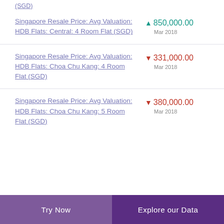(SGD)
Singapore Resale Price: Avg Valuation: HDB Flats: Central: 4 Room Flat (SGD) ▲ 850,000.00 Mar 2018
Singapore Resale Price: Avg Valuation: HDB Flats: Choa Chu Kang: 4 Room Flat (SGD) ▼ 331,000.00 Mar 2018
Singapore Resale Price: Avg Valuation: HDB Flats: Choa Chu Kang: 5 Room Flat (SGD) ▼ 380,000.00 Mar 2018
Try Now   Explore our Data